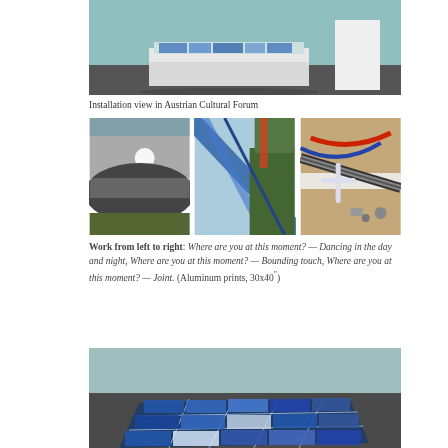[Figure (photo): Installation view in Austrian Cultural Forum showing white display table with blue printed materials on dark floor, with white pedestal in background]
Installation view in Austrian Cultural Forum
[Figure (photo): Three aluminum prints side by side: left shows landscape with sky and hills reflected; center shows blue diagonal structure with green foliage; right shows colorful tubes and cables on ground]
Work from left to right: Where are you at this moment? — Dancing in the day and night, Where are you at this moment? — Bounding touch, Where are you at this moment? — Joint. (Aluminum prints, 30x40")
[Figure (photo): Close-up installation view showing blue printed grid of photos laid flat on dark floor surface]